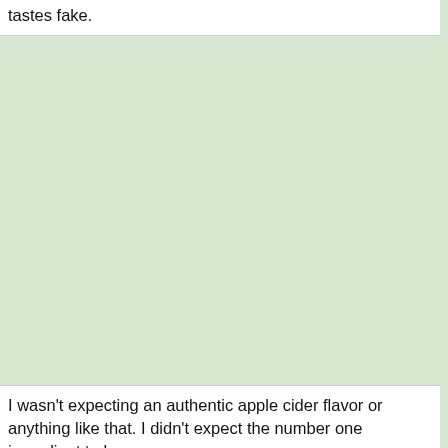tastes fake.
[Figure (other): Large green background area, possibly an image placeholder or decorative background region.]
I wasn't expecting an authentic apple cider flavor or anything like that. I didn't expect the number one ingredient to be